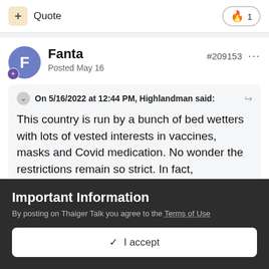+ Quote   🔥 1
Fanta
Posted May 16
#209153 ···
On 5/16/2022 at 12:44 PM, Highlandman said:
This country is run by a bunch of bed wetters with lots of vested interests in vaccines, masks and Covid medication. No wonder the restrictions remain so strict. In fact, domestically speaking,
Important Information
By posting on Thaiger Talk you agree to the Terms of Use
✓  I accept